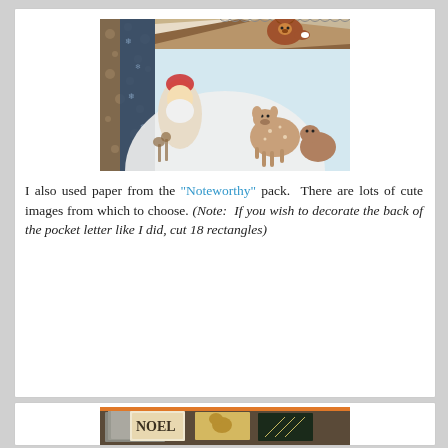[Figure (photo): A fan of decorative scrapbooking papers spread out, featuring woodland-themed designs with a fox, Santa figure, deer fawn, reindeer, snowflakes, and geometric patterns in earth tones, blue, and cream.]
I also used paper from the "Noteworthy" pack.  There are lots of cute images from which to choose. (Note:  If you wish to decorate the back of the pocket letter like I did, cut 18 rectangles)
[Figure (photo): Close-up of holiday-themed paper craft items including cards with 'NOEL' text and deer/reindeer silhouettes in gold and geometric triangle patterns.]